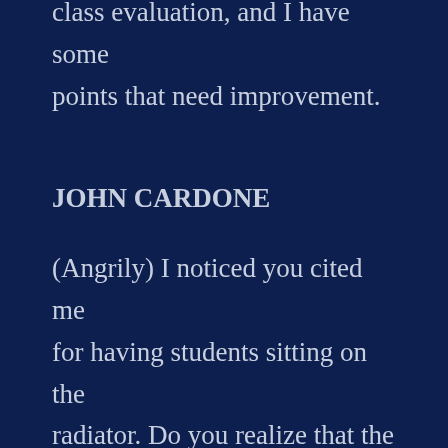John I have completed your first class evaluation, and I have some points that need improvement.
JOHN CARDONE
(Angrily) I noticed you cited me for having students sitting on the radiator. Do you realize that the class only has 32 chairs and tables, and you allowed the enrollment to go to 35 students.